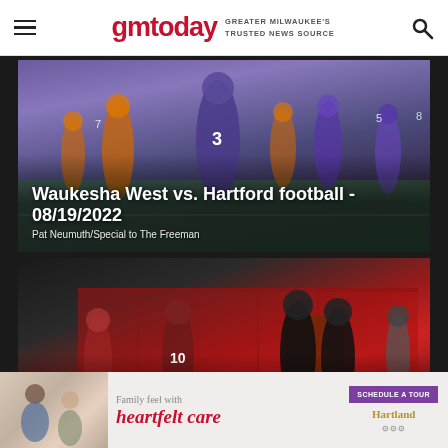gmtoday — GREATER MILWAUKEE'S TRUSTED NEWS SOURCE
[Figure (photo): Football players on a field — Waukesha West vs. Hartford football game, 08/19/2022. Players in purple and white uniforms running on grass field.]
Waukesha West vs. Hartford football - 08/19/2022
Pat Neumuth/Special to The Freeman
[Figure (photo): Football players on a field with red barn in background — Waukesha South vs. Milwaukee Lutheran football game, 08/19/2022. Players in black and dark red uniforms.]
Waukesha South vs. Milwaukee Lutheran football - 08/19/2022
Pat Neumuth/Special to The Freeman
[Figure (other): Advertisement banner: Family feel with heartfelt care — Schedule a Tour button — Hartland logo]